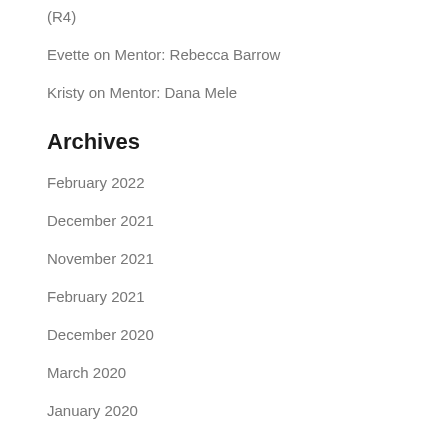(R4)
Evette on Mentor: Rebecca Barrow
Kristy on Mentor: Dana Mele
Archives
February 2022
December 2021
November 2021
February 2021
December 2020
March 2020
January 2020
October 2019
September 2019
March 2019